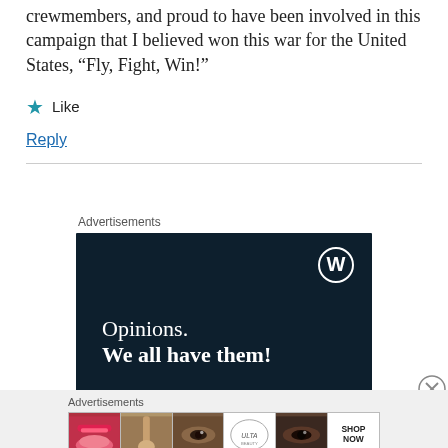crewmembers, and proud to have been involved in this campaign that I believed won this war for the United States, “Fly, Fight, Win!”
★ Like
Reply
[Figure (other): WordPress advertisement banner with dark navy background, WordPress logo (W in circle) in top right, text reading 'Opinions. We all have them!']
[Figure (other): Ulta Beauty advertisement strip showing makeup-related images including lips, brush, eye, Ulta logo, eyes, and Shop Now button]